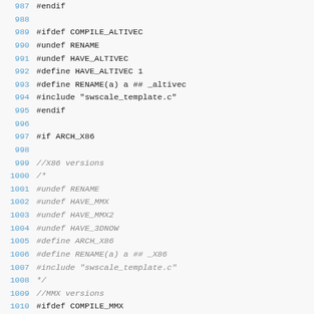Code listing lines 987-1011, C preprocessor source code with line numbers
987 #endif
988
989 #ifdef COMPILE_ALTIVEC
990 #undef RENAME
991 #undef HAVE_ALTIVEC
992 #define HAVE_ALTIVEC 1
993 #define RENAME(a) a ## _altivec
994 #include "swscale_template.c"
995 #endif
996
997 #if ARCH_X86
998
999 //X86 versions
1000 /*
1001 #undef RENAME
1002 #undef HAVE_MMX
1003 #undef HAVE_MMX2
1004 #undef HAVE_3DNOW
1005 #define ARCH_X86
1006 #define RENAME(a) a ## _X86
1007 #include "swscale_template.c"
1008 */
1009 //MMX versions
1010 #ifdef COMPILE_MMX
1011 #undef RENAME